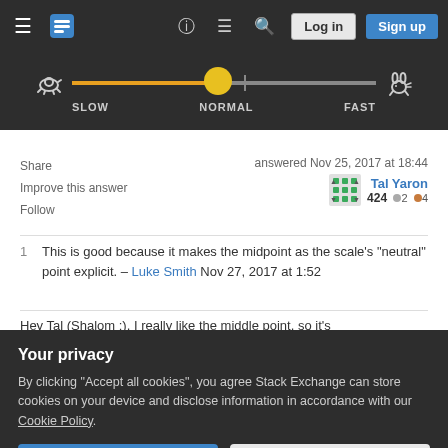[Figure (screenshot): Stack Exchange navigation bar with hamburger menu, logo, help icon, chat icon, search icon, Log in button, and Sign up button]
[Figure (screenshot): Audio/speed slider UI with turtle icon on left, rabbit icon on right, yellow circle thumb positioned near NORMAL, labels SLOW, NORMAL, FAST]
Share
Improve this answer
Follow
answered Nov 25, 2017 at 18:44
Tal Yaron 424 ◎2 ★4
1  This is good because it makes the midpoint as the scale's "neutral" point explicit. – Luke Smith Nov 27, 2017 at 1:52
Hey Tal (Shalom :), I really like the middle point, so it's
Your privacy
By clicking "Accept all cookies", you agree Stack Exchange can store cookies on your device and disclose information in accordance with our Cookie Policy.
Accept all cookies
Customize settings
1  Hi Roi, It depends on what the aim of your app. In my